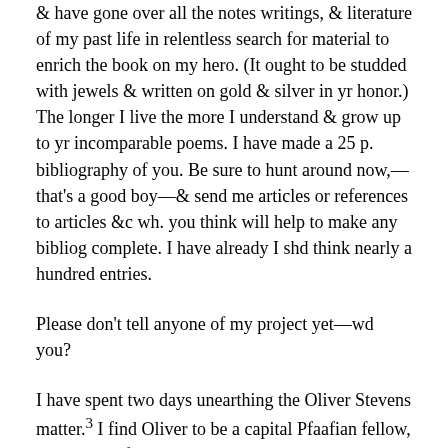& have gone over all the notes writings, & literature of my past life in relentless search for material to enrich the book on my hero. (It ought to be studded with jewels & written on gold & silver in yr honor.) The longer I live the more I understand & grow up to yr incomparable poems. I have made a 25 p. bibliography of you. Be sure to hunt around now,—that's a good boy—& send me articles or references to articles &c wh. you think will help to make any bibliog complete. I have already I shd think nearly a hundred entries.
Please don't tell anyone of my project yet—wd you?
I have spent two days unearthing the Oliver Stevens matter.³ I find Oliver to be a capital Pfaafian fellow, generous & free & entirely innocent—a mere cat's paw for others. I have discovered the real instigator, & it forms a very pretty piece of business. I am going to put him in the stocks for all time.
I am working out the grouping & laws of yr poetry.
But my chief object is to propagandize. I am going to